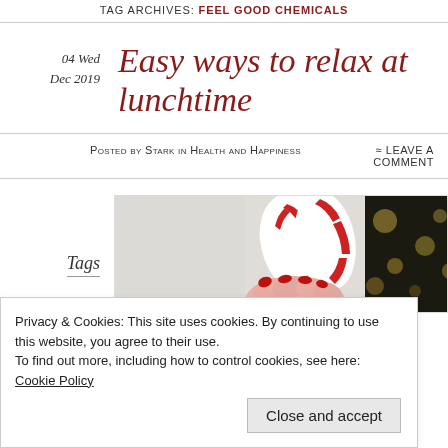TAG ARCHIVES: FEEL GOOD CHEMICALS
04 Wed Dec 2019
Easy ways to relax at lunchtime
Posted by Stark in Health and Happiness  ≈ Leave a comment
Tags
[Figure (photo): Hand with red manicured nails holding red and white striped candy canes, with bokeh lights in background]
Privacy & Cookies: This site uses cookies. By continuing to use this website, you agree to their use.
To find out more, including how to control cookies, see here: Cookie Policy
Close and accept